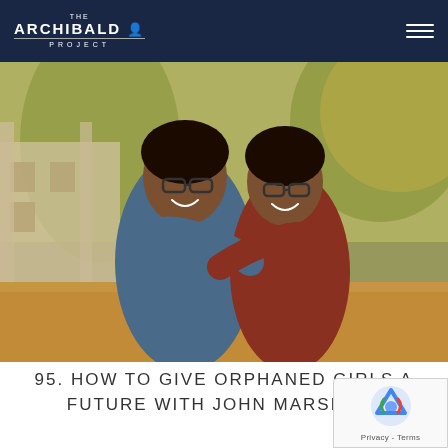THE ARCHIBALD PROJECT
[Figure (photo): Two young Indian girls with glasses smiling and hugging each other outdoors, with a building and trees in the background, warm golden light]
95. HOW TO GIVE ORPHANED GIRLS A FUTURE WITH JOHN MARSHALL